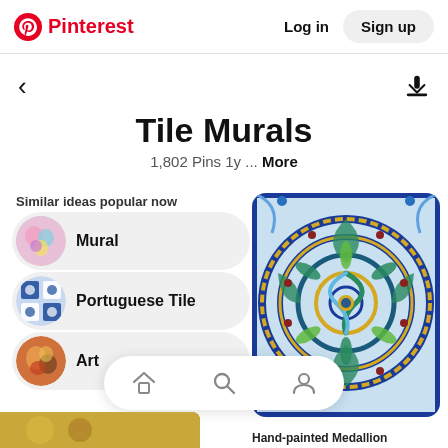Pinterest  Log in  Sign up
Tile Murals
1,802 Pins 1y ... More
Similar ideas popular now
Mural
Portuguese Tile
Art
[Figure (photo): Hand-painted medallion tile mural with blue, yellow, green spiral pattern on white background]
Hand-painted Medallion